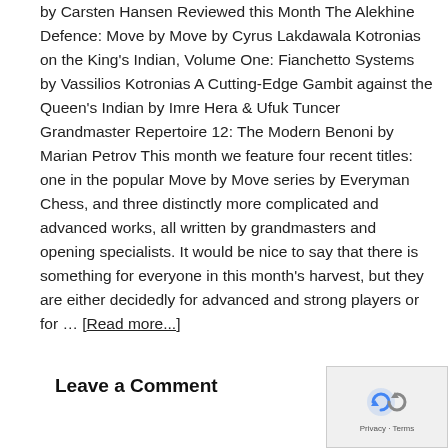by Carsten Hansen Reviewed this Month The Alekhine Defence: Move by Move by Cyrus Lakdawala Kotronias on the King's Indian, Volume One: Fianchetto Systems by Vassilios Kotronias A Cutting-Edge Gambit against the Queen's Indian by Imre Hera & Ufuk Tuncer Grandmaster Repertoire 12: The Modern Benoni by Marian Petrov This month we feature four recent titles: one in the popular Move by Move series by Everyman Chess, and three distinctly more complicated and advanced works, all written by grandmasters and opening specialists. It would be nice to say that there is something for everyone in this month's harvest, but they are either decidedly for advanced and strong players or for … [Read more...]
Leave a Comment
[Figure (other): reCAPTCHA widget showing a circular arrow icon, with 'Privacy · Terms' text below]